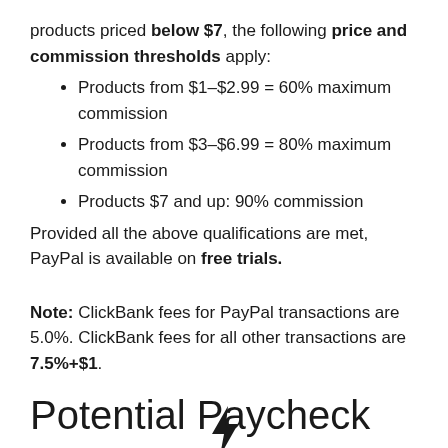products priced below $7, the following price and commission thresholds apply:
Products from $1–$2.99 = 60% maximum commission
Products from $3–$6.99 = 80% maximum commission
Products $7 and up: 90% commission
Provided all the above qualifications are met, PayPal is available on free trials.
Note: ClickBank fees for PayPal transactions are 5.0%. ClickBank fees for all other transactions are 7.5%+$1.
[Figure (illustration): Lightning bolt icon]
Potential Paycheck